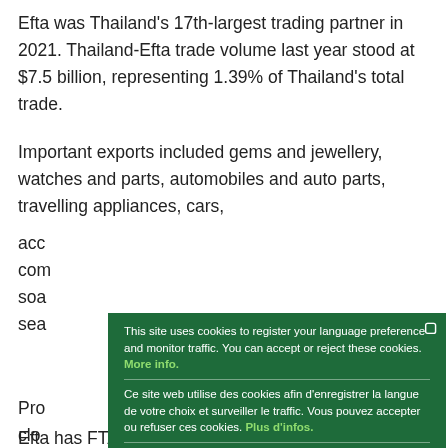Efta was Thailand's 17th-largest trading partner in 2021. Thailand-Efta trade volume last year stood at $7.5 billion, representing 1.39% of Thailand's total trade.
Important exports included gems and jewellery, watches and parts, automobiles and auto parts, travelling appliances, cars, acc[essories], com[puter parts], soa[p/cosmetics], sea[food]
Pro[ducts including] clo[thing/textiles], me[dicines/pharmaceuticals]
Tha[iland ...]
Reg[ional trade agreements / negotiations ...] into[...
Efta has FTAs with 29 countries including South Korea, Hong
[Figure (screenshot): Cookie consent overlay popup with dark green background. Contains three language blocks (English, French, Spanish) with cookie policy text and links, separated by horizontal dividers, and a green 'Ok' button at the bottom.]